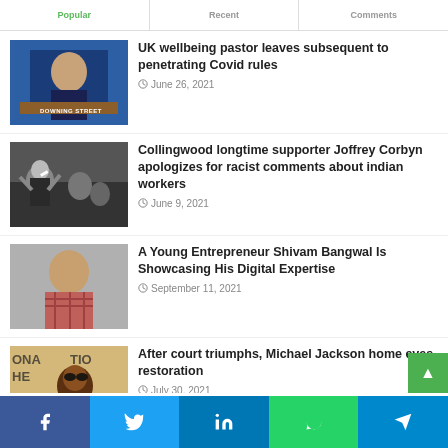Popular | Recent | Comments
UK wellbeing pastor leaves subsequent to penetrating Covid rules — June 26, 2021
Collingwood longtime supporter Joffrey Corbyn apologizes for racist comments about indian workers — June 9, 2021
A Young Entrepreneur Shivam Bangwal Is Showcasing His Digital Expertise — September 11, 2021
After court triumphs, Michael Jackson home eyes restoration — July 30, 2021
Facebook | Twitter | LinkedIn | WhatsApp | Telegram